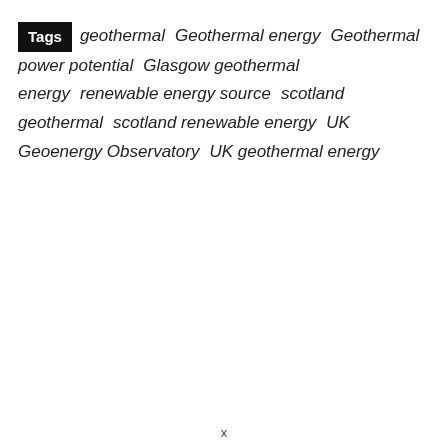Tags  geothermal  Geothermal energy  Geothermal power potential  Glasgow geothermal energy  renewable energy source  scotland geothermal  scotland renewable energy  UK Geoenergy Observatory  UK geothermal energy
x